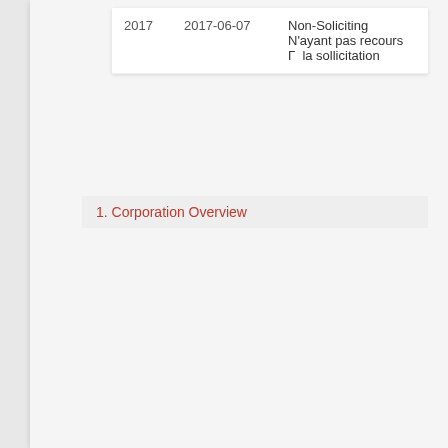| 2017 | 2017-06-07 | Non-Soliciting
N'ayant pas recours Γ  la sollicitation |
1. Corporation Overview